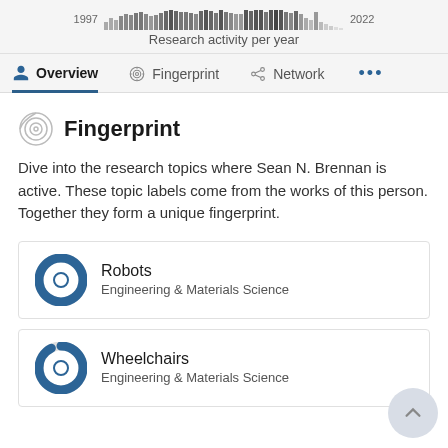[Figure (bar-chart): Histogram of research activity from 1997 to 2022 shown as small stacked gray bars]
Research activity per year
Overview
Fingerprint
Fingerprint
Dive into the research topics where Sean N. Brennan is active. These topic labels come from the works of this person. Together they form a unique fingerprint.
Robots
Engineering & Materials Science
Wheelchairs
Engineering & Materials Science